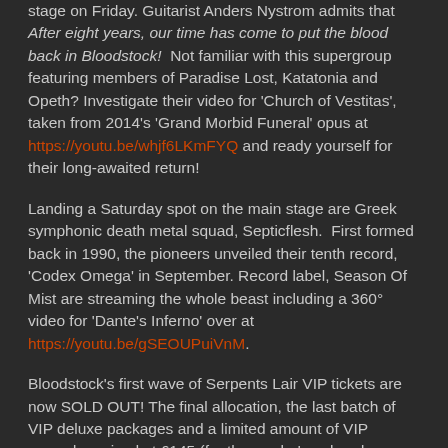stage on Friday. Guitarist Anders Nystrom admits that After eight years, our time has come to put the blood back in Bloodstock! Not familiar with this supergroup featuring members of Paradise Lost, Katatonia and Opeth? Investigate their video for 'Church of Vestitas', taken from 2014's 'Grand Morbid Funeral' opus at https://youtu.be/whjf6LKmFYQ and ready yourself for their long-awaited return!
Landing a Saturday spot on the main stage are Greek symphonic death metal squad, Septicflesh. First formed back in 1990, the pioneers unveiled their tenth record, 'Codex Omega' in September. Record label, Season Of Mist are streaming the whole beast including a 360° video for 'Dante's Inferno' over at https://youtu.be/gSEOUPuiVnM.
Bloodstock's first wave of Serpents Lair VIP tickets are now SOLD OUT! The final allocation, the last batch of VIP deluxe packages and a limited amount of VIP upgrades priced at £145 (for those who've already bought 'early bird' tickets) will become available at 9.00am on 16th December in the ticket store. Mark your calendars and don't delay if you want to join us in 2018's VIP